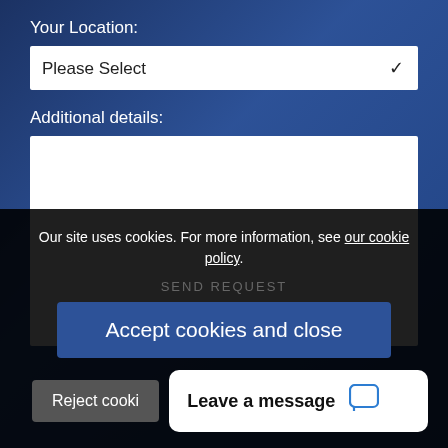Your Location:
Please Select
Additional details:
Our site uses cookies. For more information, see our cookie policy.
SEND REQUEST
Accept cookies and close
Reject cooki...
Leave a message